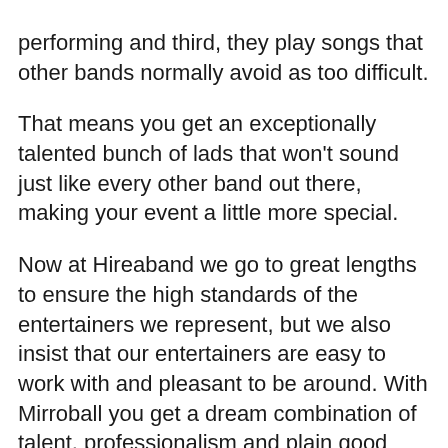performing and third, they play songs that other bands normally avoid as too difficult.
That means you get an exceptionally talented bunch of lads that won't sound just like every other band out there, making your event a little more special.
Now at Hireaband we go to great lengths to ensure the high standards of the entertainers we represent, but we also insist that our entertainers are easy to work with and pleasant to be around. With Mirroball you get a dream combination of talent, professionalism and plain good manners. They know they're good so they don't act like divas!
Click the enquiry button at the top of this page for a free quote direct from the band -